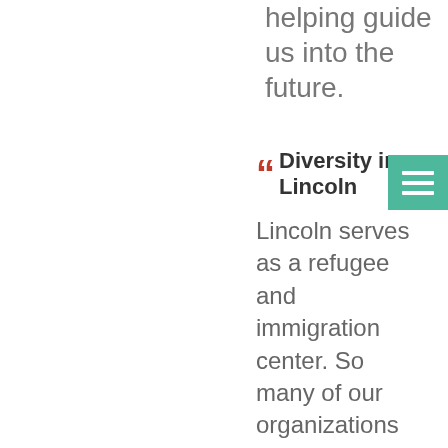helping guide us into the future.
Diversity in Lincoln
Lincoln serves as a refugee and immigration center. So many of our organizations and churches do so much to welcome folks. I'm very proud of our community for doing that. Bryan often serves as an early opportunity